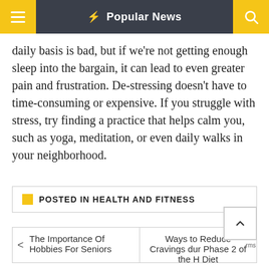Popular News
daily basis is bad, but if we're not getting enough sleep into the bargain, it can lead to even greater pain and frustration. De-stressing doesn't have to time-consuming or expensive. If you struggle with stress, try finding a practice that helps calm you, such as yoga, meditation, or even daily walks in your neighborhood.
POSTED IN HEALTH AND FITNESS
The Importance Of Hobbies For Seniors
Ways to Reduce Cravings dur Phase 2 of the H Diet